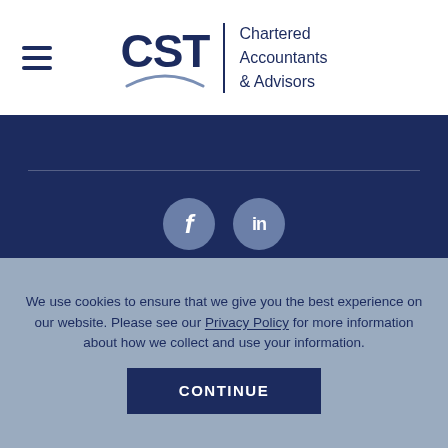[Figure (logo): CST Chartered Accountants & Advisors logo with hamburger menu icon on the left, CST text with arc underline and tagline on the right]
[Figure (infographic): Dark navy footer section with horizontal divider lines, Facebook and LinkedIn social media icon circles, CST text and Blockchain badge logo at bottom]
We use cookies to ensure that we give you the best experience on our website. Please see our Privacy Policy for more information about how we collect and use your information.
CONTINUE